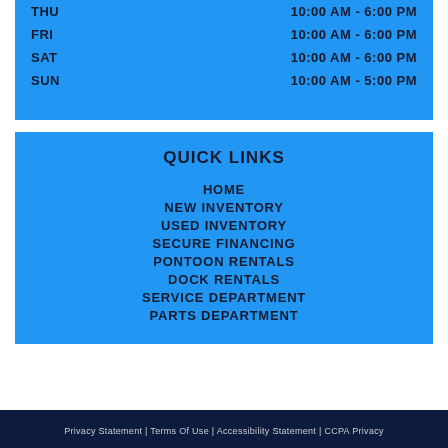| Day | Hours |
| --- | --- |
| THU | 10:00 AM - 6:00 PM |
| FRI | 10:00 AM - 6:00 PM |
| SAT | 10:00 AM - 6:00 PM |
| SUN | 10:00 AM - 5:00 PM |
QUICK LINKS
HOME
NEW INVENTORY
USED INVENTORY
SECURE FINANCING
PONTOON RENTALS
DOCK RENTALS
SERVICE DEPARTMENT
PARTS DEPARTMENT
Privacy Statement | Terms Of Use | Accessibility Statement | CCPA Privacy